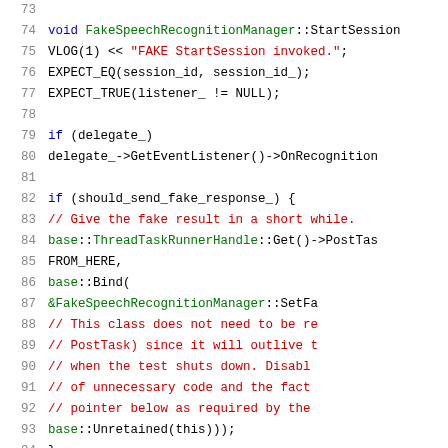[Figure (screenshot): C++ source code snippet showing FakeSpeechRecognitionManager::StartSession method implementation with line numbers 73-93. Code includes VLOG, EXPECT_EQ, EXPECT_TRUE calls, delegate check, should_send_fake_response_ conditional block with base::ThreadTaskRunnerHandle::Get()->PostTask, FROM_HERE, base::Bind, &FakeSpeechRecognitionManager::SetFa..., comment lines about class not needing to be retained, and base::Unretained(this))).]